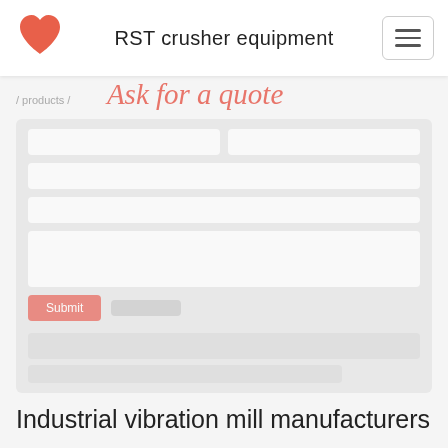RST crusher equipment
Ask for a quote
[Figure (screenshot): A web form for requesting a quote, with input fields for name, email, and message, partially visible on a light grey background]
Industrial vibration mill manufacturers